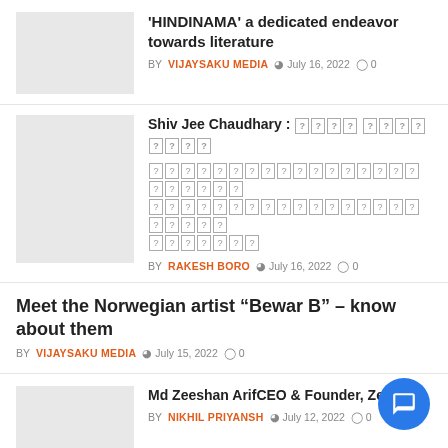'HINDINAMA' a dedicated endeavor towards literature
BY VIJAYSAKU MEDIA  July 16, 2022  0
Shiv Jee Chaudhary : [garbled unicode text]
BY RAKESH BORO  July 16, 2022  0
Meet the Norwegian artist “Bewar B” – know about them
BY VIJAYSAKU MEDIA  July 15, 2022  0
Md Zeeshan ArifCEO & Founder, Zee Mo…
BY NIKHIL PRIYANSH  July 12, 2022  0